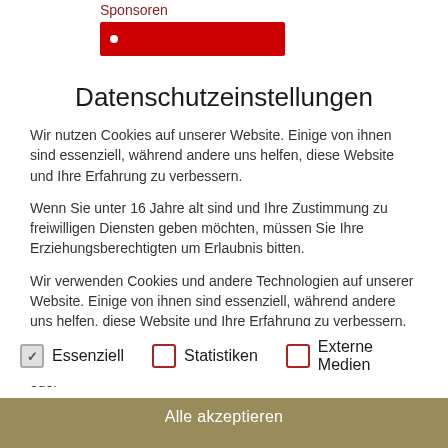Sponsoren
Datenschutzeinstellungen
Wir nutzen Cookies auf unserer Website. Einige von ihnen sind essenziell, während andere uns helfen, diese Website und Ihre Erfahrung zu verbessern.
Wenn Sie unter 16 Jahre alt sind und Ihre Zustimmung zu freiwilligen Diensten geben möchten, müssen Sie Ihre Erziehungsberechtigten um Erlaubnis bitten.
Wir verwenden Cookies und andere Technologien auf unserer Website. Einige von ihnen sind essenziell, während andere uns helfen, diese Website und Ihre Erfahrung zu verbessern. Personenbezogene Daten können verarbeitet werden (z. B. IP-Adressen), z. B. für personalisierte Anzeigen und Inhalte oder
Essenziell
Statistiken
Externe Medien
Alle akzeptieren